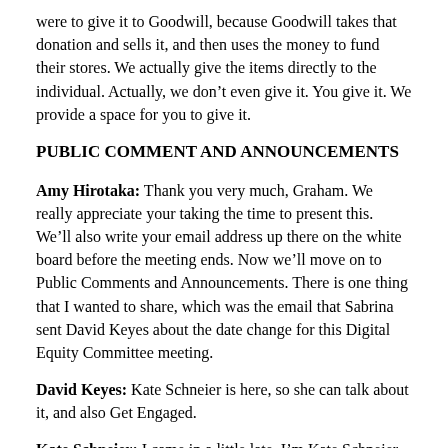were to give it to Goodwill, because Goodwill takes that donation and sells it, and then uses the money to fund their stores. We actually give the items directly to the individual. Actually, we don't even give it. You give it. We provide a space for you to give it.
PUBLIC COMMENT AND ANNOUNCEMENTS
Amy Hirotaka: Thank you very much, Graham. We really appreciate your taking the time to present this. We'll also write your email address up there on the white board before the meeting ends. Now we'll move on to Public Comments and Announcements. There is one thing that I wanted to share, which was the email that Sabrina sent David Keyes about the date change for this Digital Equity Committee meeting.
David Keyes: Kate Schneier is here, so she can talk about it, and also Get Engaged.
Kate Schneier: I came in a little late. I'm Kate Schneier and I work at the YMCA and I run the Get Engaged program. Get Engaged places young adults, ages 18-29, on boards and